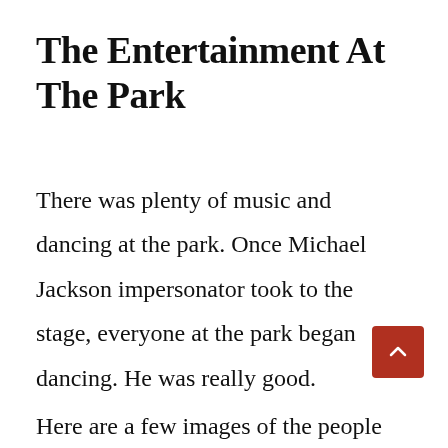The Entertainment At The Park
There was plenty of music and dancing at the park. Once Michael Jackson impersonator took to the stage, everyone at the park began dancing. He was really good.
Here are a few images of the people